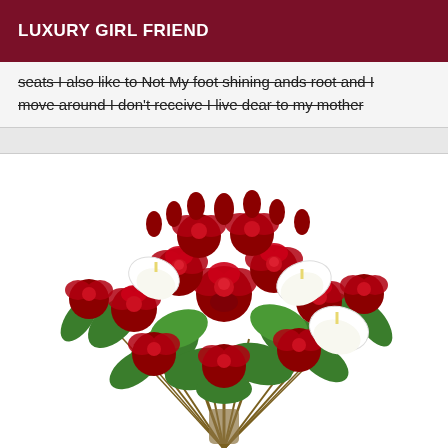LUXURY GIRL FRIEND
seats I also like to Not My foot shining ands root and I move around I don't receive I live dear to my mother
[Figure (photo): A bouquet of red roses and white calla lilies with green leaves, stems wrapped together, photographed on a white background.]